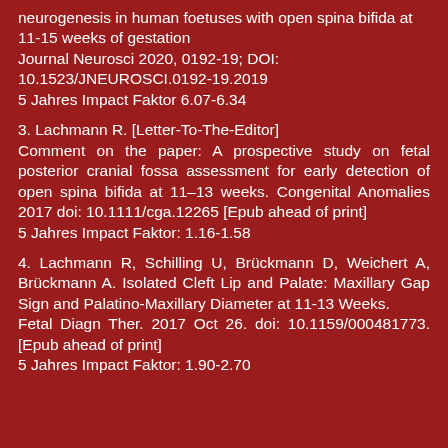neurogenesis in human foetuses with open spina bifida at 11-15 weeks of gestation
Journal Neurosci 2020, 0192-19; DOI: 10.1523/JNEUROSCI.0192-19.2019
5 Jahres Impact Faktor 6.07-6.34
3. Lachmann R. [Letter-To-The-Editor]
Comment on the paper: A prospective study on fetal posterior cranial fossa assessment for early detection of open spina bifida at 11–13 weeks. Congenital Anomalies 2017 doi: 10.1111/cga.12265 [Epub ahead of print]
5 Jahres Impact Faktor: 1.16-1.58
4. Lachmann R, Schilling U, Brückmann D, Weichert A, Brückmann A. Isolated Cleft Lip and Palate: Maxillary Gap Sign and Palatino-Maxillary Diameter at 11-13 Weeks.
Fetal Diagn Ther. 2017 Oct 26. doi: 10.1159/000481773. [Epub ahead of print]
5 Jahres Impact Faktor: 1.90-2.70